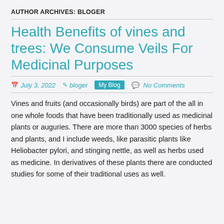AUTHOR ARCHIVES: BLOGER
Health Benefits of vines and trees: We Consume Veils For Medicinal Purposes
July 3, 2022   bloger   My Blog   No Comments
Vines and fruits (and occasionally birds) are part of the all in one whole foods that have been traditionally used as medicinal plants or auguries. There are more than 3000 species of herbs and plants, and I include weeds, like parasitic plants like Heliobacter pylori, and stinging nettle, as well as herbs used as medicine. In derivatives of these plants there are conducted studies for some of their traditional uses as well.